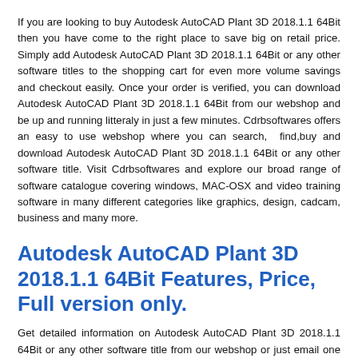If you are looking to buy Autodesk AutoCAD Plant 3D 2018.1.1 64Bit then you have come to the right place to save big on retail price. Simply add Autodesk AutoCAD Plant 3D 2018.1.1 64Bit or any other software titles to the shopping cart for even more volume savings and checkout easily. Once your order is verified, you can download Autodesk AutoCAD Plant 3D 2018.1.1 64Bit from our webshop and be up and running litteraly in just a few minutes. Cdrbsoftwares offers an easy to use webshop where you can search, find,buy and download Autodesk AutoCAD Plant 3D 2018.1.1 64Bit or any other software title. Visit Cdrbsoftwares and explore our broad range of software catalogue covering windows, MAC-OSX and video training software in many different categories like graphics, design, cadcam, business and many more.
Autodesk AutoCAD Plant 3D 2018.1.1 64Bit Features, Price, Full version only.
Get detailed information on Autodesk AutoCAD Plant 3D 2018.1.1 64Bit or any other software title from our webshop or just email one of our representatives. We will help and make sure you select the correct software title according to your requirements and price. We will guarantee that any software will work as advertised and that